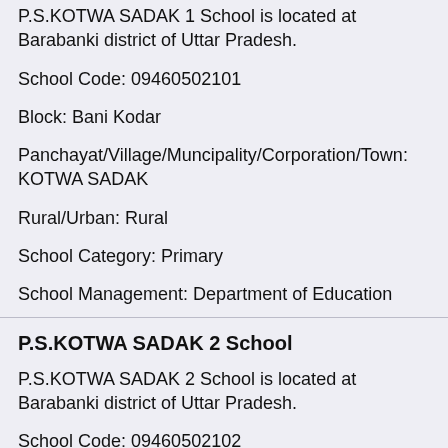P.S.KOTWA SADAK 1 School is located at Barabanki district of Uttar Pradesh.
School Code: 09460502101
Block: Bani Kodar
Panchayat/Village/Muncipality/Corporation/Town: KOTWA SADAK
Rural/Urban: Rural
School Category: Primary
School Management: Department of Education
P.S.KOTWA SADAK 2 School
P.S.KOTWA SADAK 2 School is located at Barabanki district of Uttar Pradesh.
School Code: 09460502102
Block: Bani Kodar